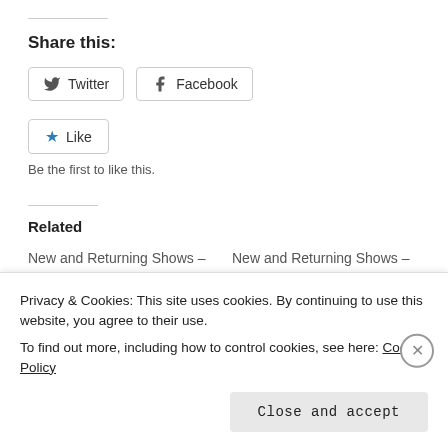Share this:
Twitter | Facebook (share buttons)
Like | Be the first to like this.
Related
New and Returning Shows – HBO, AMC, Showtime
May 19, 2013
New and Returning Shows – FX, TNT, Syfy and USA
May 20, 2013
Privacy & Cookies: This site uses cookies. By continuing to use this website, you agree to their use.
To find out more, including how to control cookies, see here: Cookie Policy
Close and accept